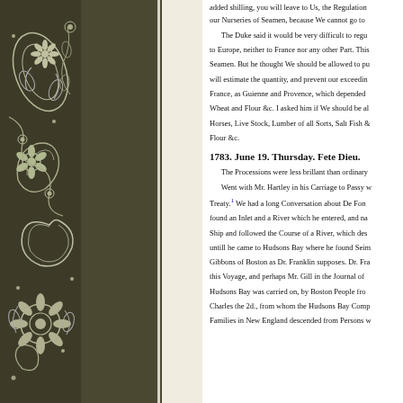[Figure (illustration): Decorative floral/paisley pattern in dark olive/brown and white, with ornate botanical designs covering the left portion of the page]
added shilling, you will leave to Us, the Regulations of our Nurseries of Seamen, because We cannot go to
The Duke said it would be very difficult to regu to Europe, neither to France nor any other Part. This Seamen. But he thought We should be allowed to pu will estimate the quantity, and prevent our exceedin France, as Guienne and Provence, which depended Wheat and Flour &c. I asked him if We should be al Horses, Live Stock, Lumber of all Sorts, Salt Fish & Flour &c.
1783. June 19. Thursday. Fete Dieu.
The Processions were less brillant than ordinary
Went with Mr. Hartley in his Carriage to Passy w Treaty.1 We had a long Conversation about De Fon found an Inlet and a River which he entered, and na Ship and followed the Course of a River, which des untill he came to Hudsons Bay where he found Seim Gibbons of Boston as Dr. Franklin supposes. Dr. Fra this Voyage, and perhaps Mr. Gill in the Journal of Hudsons Bay was carried on, by Boston People fro Charles the 2d., from whom the Hudsons Bay Comp Families in New England descended from Persons w